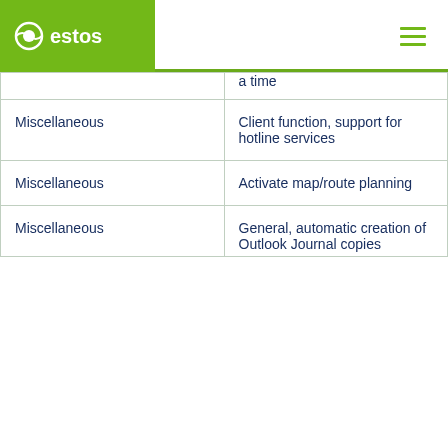estos
|  | a time |
| Miscellaneous | Client function, support for hotline services |
| Miscellaneous | Activate map/route planning |
| Miscellaneous | General, automatic creation of Outlook Journal copies |